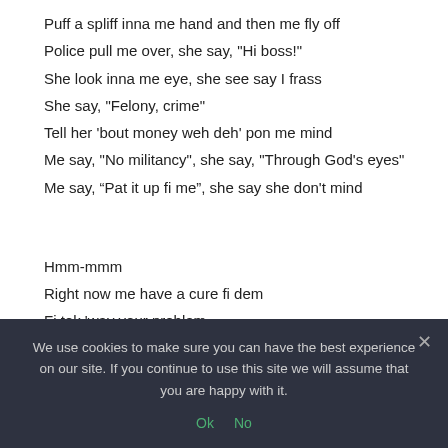Puff a spliff inna me hand and then me fly off
Police pull me over, she say, "Hi boss!"
She look inna me eye, she see say I frass
She say, "Felony, crime"
Tell her 'bout money weh deh' pon me mind
Me say, "No militancy", she say, "Through God's eyes"
Me say, “Pat it up fi me”, she say she don't mind
Hmm-mmm
Right now me have a cure fi dem
Fi tek 'way your problem
N'even sea nor shore fi dem
Everything get wash away
We use cookies to make sure you can have the best experience on our site. If you continue to use this site we will assume that you are happy with it.
Ok  No